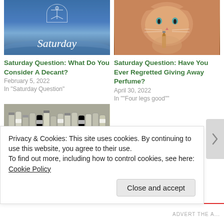[Figure (photo): Blue ocean/sky background image with white cursive text reading 'Saturday' and a faint anchor/ship icon above]
[Figure (photo): Orange tabby cat holding a small perfume vial/bottle near its mouth]
Saturday Question: What Do You Consider A Decant?
February 5, 2022
In "Saturday Question"
Saturday Question: Have You Ever Regretted Giving Away Perfume?
April 30, 2022
In ""Four legs good""
[Figure (photo): Collection of small perfume sample vials/decants arranged together, some with yellow liquid]
Privacy & Cookies: This site uses cookies. By continuing to use this website, you agree to their use.
To find out more, including how to control cookies, see here: Cookie Policy
Close and accept